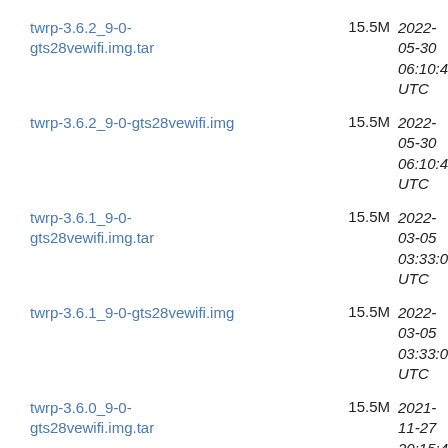twrp-3.6.2_9-0-gts28vewifi.img.tar   15.5M   2022-05-30 06:10:43 UTC
twrp-3.6.2_9-0-gts28vewifi.img   15.5M   2022-05-30 06:10:43 UTC
twrp-3.6.1_9-0-gts28vewifi.img.tar   15.5M   2022-03-05 03:33:01 UTC
twrp-3.6.1_9-0-gts28vewifi.img   15.5M   2022-03-05 03:33:01 UTC
twrp-3.6.0_9-0-gts28vewifi.img.tar   15.5M   2021-11-27 20:15:47 UTC
twrp-3.6.0_9-0-gts28vewifi.img   15.5M   2021-11-27 20:15:47 UTC
twrp-3.5.2_9-0-gts28vewifi.img.tar   15.4M   2021-04-06 03:15:20 UTC
twrp-3.5.2_9-0-gts28vewifi.img   15.4M   2021-04-06 03:15:20 UTC